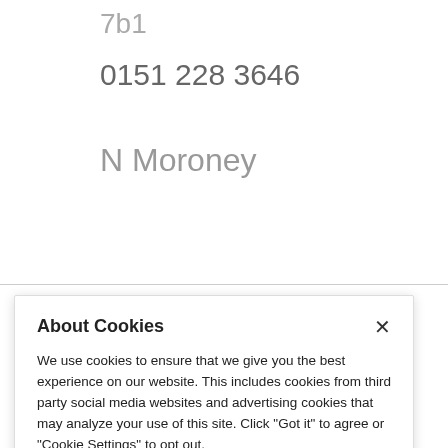7b1
0151 228 3646
N Moroney
About Cookies
We use cookies to ensure that we give you the best experience on our website. This includes cookies from third party social media websites and advertising cookies that may analyze your use of this site. Click "Got it" to agree or "Cookie Settings" to opt out.
Cookie Notice
Got It
Cookies Settings